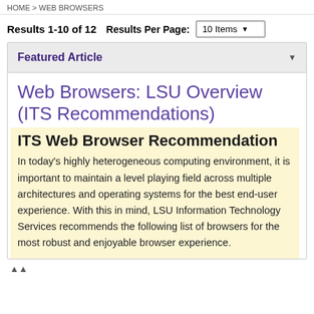HOME > WEB BROWSERS
Results 1-10 of 12   Results Per Page:  10 Items
Featured Article
Web Browsers: LSU Overview (ITS Recommendations)
ITS Web Browser Recommendation
In today's highly heterogeneous computing environment, it is important to maintain a level playing field across multiple architectures and operating systems for the best end-user experience. With this in mind, LSU Information Technology Services recommends the following list of browsers for the most robust and enjoyable browser experience.
This website uses cookies to ensure site functionality. To learn more, please visit this website. By continuing to use this site, you accept our use of cookies and Privacy Statement. To learn more, please visit LSU Privacy Statement.  I agree.